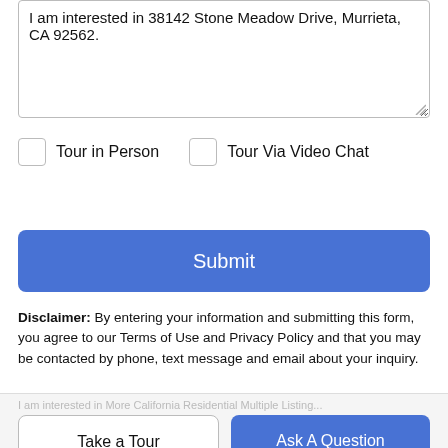I am interested in 38142 Stone Meadow Drive, Murrieta, CA 92562.
Tour in Person
Tour Via Video Chat
Submit
Disclaimer: By entering your information and submitting this form, you agree to our Terms of Use and Privacy Policy and that you may be contacted by phone, text message and email about your inquiry.
I am interested in More California Residential Multiple Listing...
Take a Tour
Ask A Question